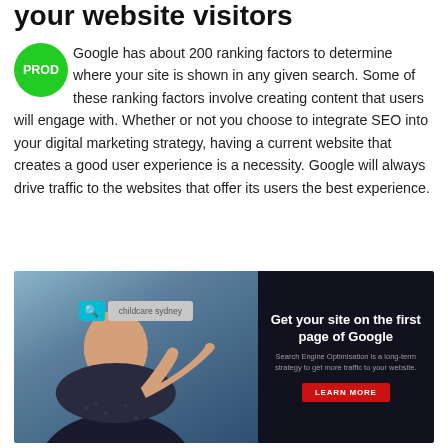your website visitors
Google has about 200 ranking factors to determine where your site is shown in any given search. Some of these ranking factors involve creating content that users will engage with. Whether or not you choose to integrate SEO into your digital marketing strategy, having a current website that creates a good user experience is a necessity. Google will always drive traffic to the websites that offer its users the best experience.
[Figure (infographic): Advertisement banner showing a person pointing at a search bar with 'childcare sydney' text. Right side has dark background with text 'Get your site on the first page of Google', subtitle 'Search Engine Optimisation is a long-term strategy to get more traffic to your website.' and a red LEARN MORE button.]